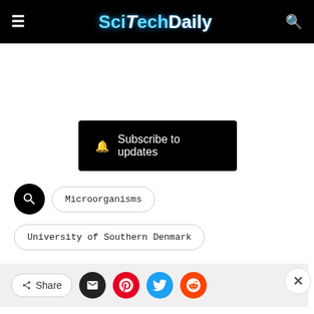SciTechDaily
[Figure (screenshot): Subscribe to updates button with bell icon on black background]
Microorganisms
University of Southern Denmark
[Figure (screenshot): Share bar with Share button, email, Pinterest, Twitter, Reddit icons and close X button]